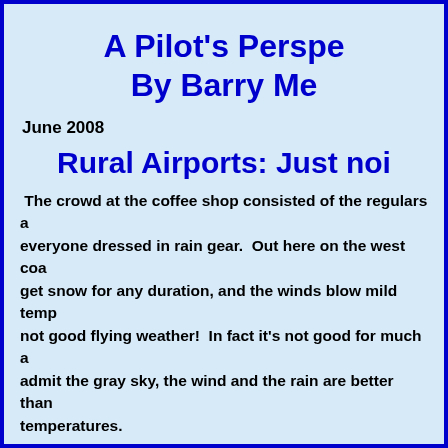A Pilot's Perspective By Barry Me...
June 2008
Rural Airports: Just noi...
The crowd at the coffee shop consisted of the regulars a... everyone dressed in rain gear.  Out here on the west coa... get snow for any duration, and the winds blow mild temp... not good flying weather!  In fact it's not good for much a... admit the gray sky, the wind and the rain are better than... temperatures.
The relatively mild winters are the reason so many of ou... here to retire.  Rain wear is cheaper than winter clothes.... house.  And there are fewer heart attacks while shovelin...